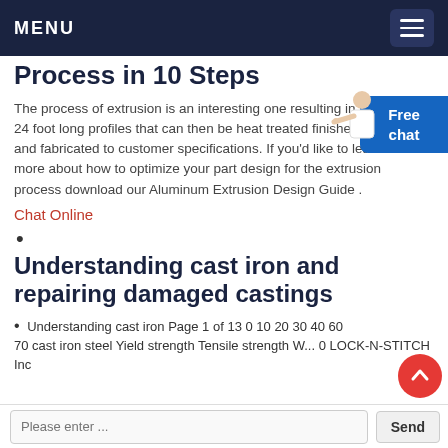MENU
Process in 10 Steps
The process of extrusion is an interesting one resulting in 8-24 foot long profiles that can then be heat treated finished and fabricated to customer specifications. If you’d like to learn more about how to optimize your part design for the extrusion process download our Aluminum Extrusion Design Guide .
Chat Online
Understanding cast iron and repairing damaged castings
Understanding cast iron Page 1 of 13 0 10 20 30 40 60
70 cast iron steel Yield strength Tensile strength W... 0 LOCK-N-STITCH Inc